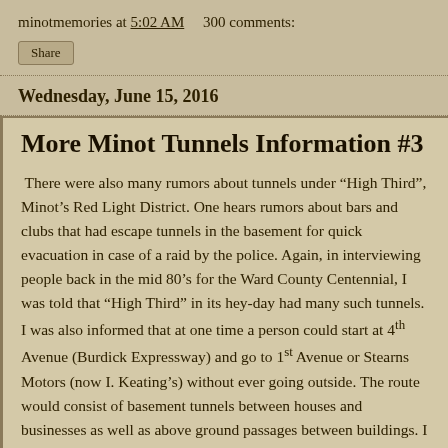minotmemories at 5:02 AM     300 comments:
Share
Wednesday, June 15, 2016
More Minot Tunnels Information #3
There were also many rumors about tunnels under “High Third”, Minot’s Red Light District. One hears rumors about bars and clubs that had escape tunnels in the basement for quick evacuation in case of a raid by the police. Again, in interviewing people back in the mid 80’s for the Ward County Centennial, I was told that “High Third” in its hey-day had many such tunnels. I was also informed that at one time a person could start at 4th Avenue (Burdick Expressway) and go to 1st Avenue or Stearns Motors (now I. Keating’s) without ever going outside. The route would consist of basement tunnels between houses and businesses as well as above ground passages between buildings. I have been investigating the history of Minot’s High Third. I very seriously doubt if this was true. In the days of prohibition, most of the